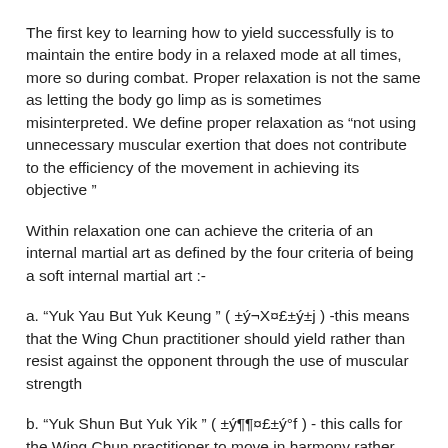The first key to learning how to yield successfully is to maintain the entire body in a relaxed mode at all times, more so during combat. Proper relaxation is not the same as letting the body go limp as is sometimes misinterpreted. We define proper relaxation as “not using unnecessary muscular exertion that does not contribute to the efficiency of the movement in achieving its objective ”
Within relaxation one can achieve the criteria of an internal martial art as defined by the four criteria of being a soft internal martial art :-
a. “Yuk Yau But Yuk Keung ” ( ±ý¬X¤£±ý±j ) -this means that the Wing Chun practitioner should yield rather than resist against the opponent through the use of muscular strength
b. “Yuk Shun But Yuk Yik ” ( ±ý¶¶¤£±ý°f ) - this calls for the Wing Chun practitioner to move in harmony rather than against the opponent flow of force
c. “Yuk Ding But Yuk Luen ” ( ±ý©w¤£±ý¶Ã ) - this requires the